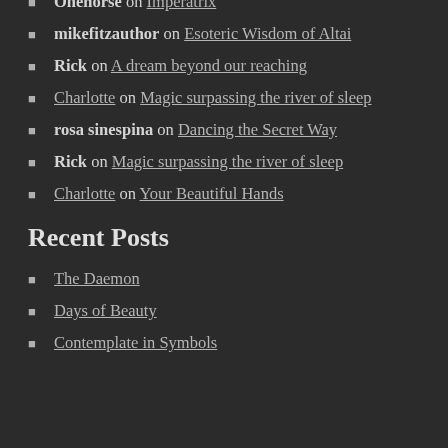Onehorse on Imperatrix
mikefitzauthor on Esoteric Wisdom of Altai
Rick on A dream beyond our reaching
Charlotte on Magic surpassing the river of sleep
rosa sinespina on Dancing the Secret Way
Rick on Magic surpassing the river of sleep
Charlotte on Your Beautiful Hands
Recent Posts
The Daemon
Days of Beauty
Contemplate in Symbols